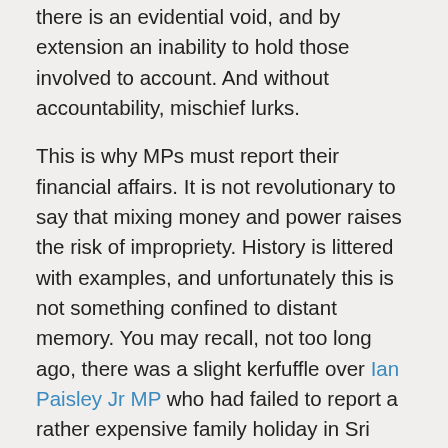there is an evidential void, and by extension an inability to hold those involved to account. And without accountability, mischief lurks.
This is why MPs must report their financial affairs. It is not revolutionary to say that mixing money and power raises the risk of impropriety. History is littered with examples, and unfortunately this is not something confined to distant memory. You may recall, not too long ago, there was a slight kerfuffle over Ian Paisley Jr MP who had failed to report a rather expensive family holiday in Sri Lanka. How was this relevant to his role as a parliamentarian, you may ask? Well, it turns out the Government of Sri Lanka picked up the bill – figures are disputed, but it is somewhere in the region of £50,000 – £100,000 (astonishing amounts in that context) — continues below...